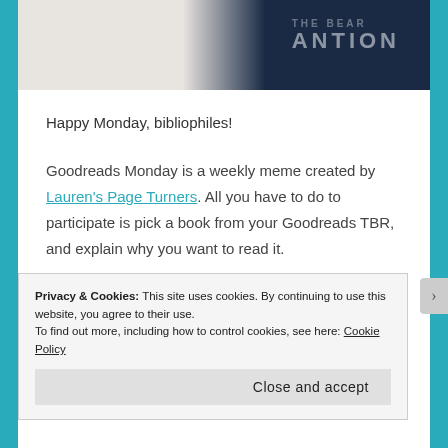[Figure (photo): Top portion of a photo showing a person, split between a light/beige background on the left and a dark navy background on the right with partial text visible.]
Happy Monday, bibliophiles!
Goodreads Monday is a weekly meme created by Lauren's Page Turners. All you have to do to participate is pick a book from your Goodreads TBR, and explain why you want to read it.
Concluding my collection of spooky books for this October, here's one from an author that I haven't
Privacy & Cookies: This site uses cookies. By continuing to use this website, you agree to their use.
To find out more, including how to control cookies, see here: Cookie Policy
Close and accept